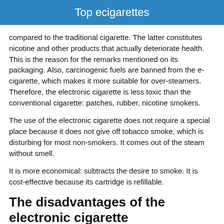Top ecigarettes
compared to the traditional cigarette. The latter constitutes nicotine and other products that actually deteriorate health. This is the reason for the remarks mentioned on its packaging. Also, carcinogenic fuels are banned from the e-cigarette, which makes it more suitable for over-steamers. Therefore, the electronic cigarette is less toxic than the conventional cigarette: patches, rubber, nicotine smokers.
The use of the electronic cigarette does not require a special place because it does not give off tobacco smoke, which is disturbing for most non-smokers. It comes out of the steam without smell.
It is more economical: subtracts the desire to smoke. It is cost-effective because its cartridge is refillable.
The disadvantages of the electronic cigarette